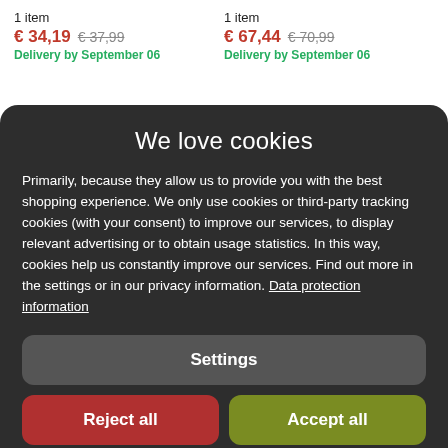1 item
€ 34,19 € 37,99
Delivery by September 06
1 item
€ 67,44 € 70,99
Delivery by September 06
We love cookies
Primarily, because they allow us to provide you with the best shopping experience. We only use cookies or third-party tracking cookies (with your consent) to improve our services, to display relevant advertising or to obtain usage statistics. In this way, cookies help us constantly improve our services. Find out more in the settings or in our privacy information. Data protection information
Settings
Reject all
Accept all